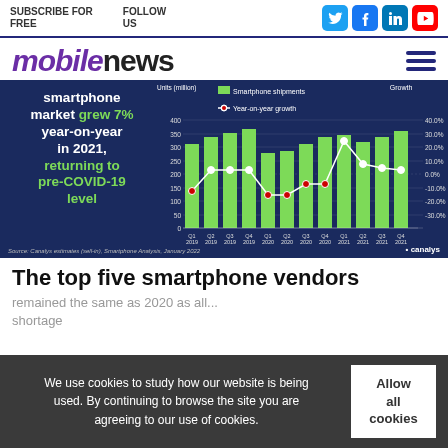SUBSCRIBE FOR FREE   FOLLOW US
mobilenews
[Figure (bar-chart): Bar chart showing smartphone shipments and year-on-year growth from Q1 2019 to Q4 2021. Source: Canalys estimates (sell-in), Smartphone Analysis, January 2022]
The top five smartphone vendors
remained the same as 2020 as all... shortage
We use cookies to study how our website is being used. By continuing to browse the site you are agreeing to our use of cookies.